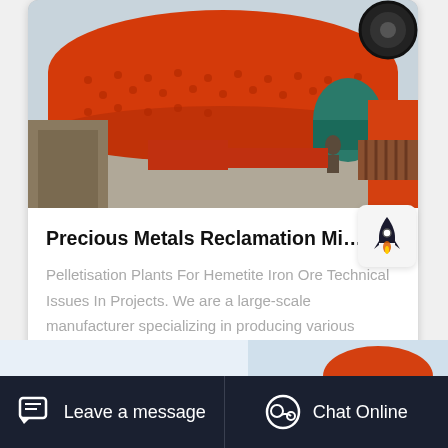[Figure (photo): Mining equipment — large orange ball mills and industrial machinery on an outdoor site with concrete foundations. Teal and orange machinery visible in background with a person and cloudy sky.]
Precious Metals Reclamation Mining Company
Pelletisation Plants For Hemetite Iron Ore Technical Issues In Projects. We are a large-scale manufacturer specializing in producing various mining machines…
[Figure (photo): Partial view of orange mining equipment at bottom of page.]
Leave a message   Chat Online